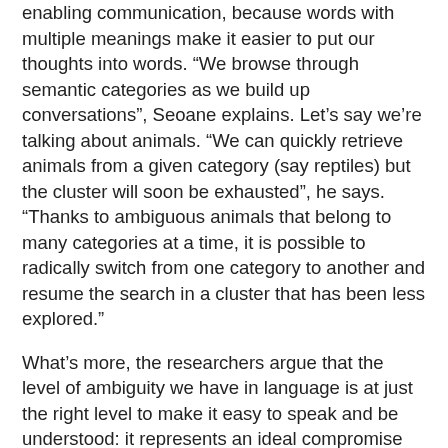enabling communication, because words with multiple meanings make it easier to put our thoughts into words. “We browse through semantic categories as we build up conversations”, Seoane explains. Let’s say we’re talking about animals. “We can quickly retrieve animals from a given category (say reptiles) but the cluster will soon be exhausted”, he says. “Thanks to ambiguous animals that belong to many categories at a time, it is possible to radically switch from one category to another and resume the search in a cluster that has been less explored.”
What’s more, the researchers argue that the level of ambiguity we have in language is at just the right level to make it easy to speak and be understood: it represents an ideal compromise between the needs of the speaker and the needs of the listener. If every single object and concept has its own unique word, then the language is completely unambiguous – but the vocabulary is huge. The listener doesn’t have to do any guessing about what the speaker is saying, but the speaker has to say a lot. (For example, “Come here” might have to be something like “I want you to come to where I am standing.”) At the other extreme, if the